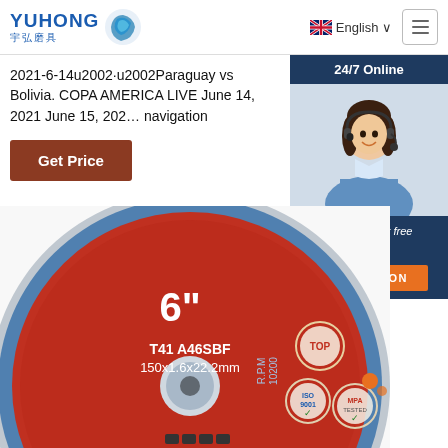[Figure (logo): Yuhong brand logo with blue wave icon and Chinese characters 宇弘磨具]
English ∨
[Figure (infographic): Hamburger menu icon button]
2021-6-14u2002·u2002Paraguay vs Bolivia. COPA AMERICA LIVE June 14, 2021 June 15, 202… navigation
Get Price
[Figure (infographic): 24/7 Online support widget with agent photo, 'Click here for free chat!' text and QUOTATION orange button]
[Figure (photo): Red and blue 6-inch cutting disc labeled T41 A46SBF 150x1.6x22.2mm, R.P.M 10200, with TOP, ISO 9001, and MPA TESTED certification badges]